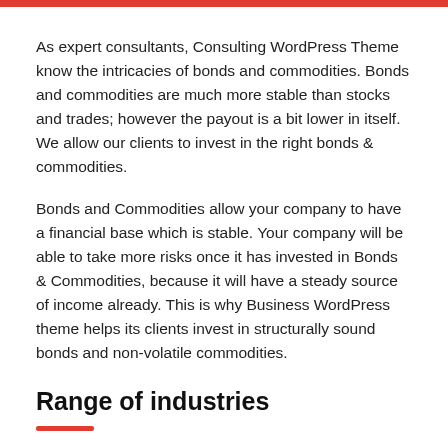As expert consultants, Consulting WordPress Theme know the intricacies of bonds and commodities. Bonds and commodities are much more stable than stocks and trades; however the payout is a bit lower in itself. We allow our clients to invest in the right bonds & commodities.
Bonds and Commodities allow your company to have a financial base which is stable. Your company will be able to take more risks once it has invested in Bonds & Commodities, because it will have a steady source of income already. This is why Business WordPress theme helps its clients invest in structurally sound bonds and non-volatile commodities.
Range of industries